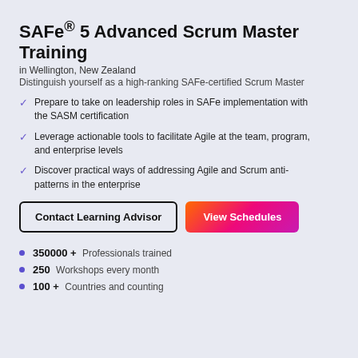SAFe® 5 Advanced Scrum Master Training
in Wellington, New Zealand
Distinguish yourself as a high-ranking SAFe-certified Scrum Master
Prepare to take on leadership roles in SAFe implementation with the SASM certification
Leverage actionable tools to facilitate Agile at the team, program, and enterprise levels
Discover practical ways of addressing Agile and Scrum anti-patterns in the enterprise
Contact Learning Advisor | View Schedules
350000 +  Professionals trained
250  Workshops every month
100 +  Countries and counting